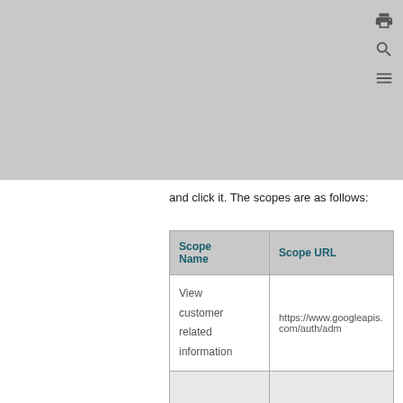and click it. The scopes are as follows:
| Scope Name | Scope URL |
| --- | --- |
| View customer related information | https://www.googleapis.com/auth/adm |
|  |  |